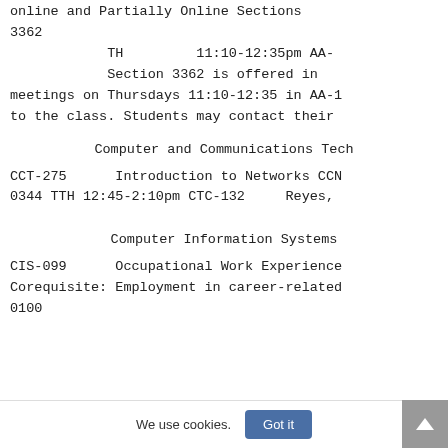online and Partially Online Sections
3362
    TH        11:10-12:35pm AA-
Section 3362 is offered in meetings on Thursdays 11:10-12:35 in AA-1 to the class. Students may contact their
Computer and Communications Tech
CCT-275      Introduction to Networks CCN
0344 TTH 12:45-2:10pm CTC-132      Reyes,
Computer Information Systems
CIS-099      Occupational Work Experience
Corequisite: Employment in career-related
0100